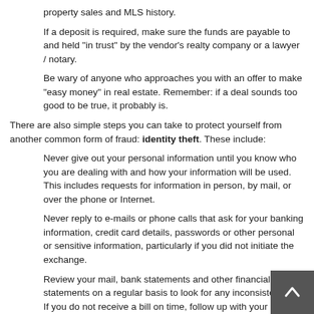property sales and MLS history.
If a deposit is required, make sure the funds are payable to and held "in trust" by the vendor's realty company or a lawyer / notary.
Be wary of anyone who approaches you with an offer to make "easy money" in real estate. Remember: if a deal sounds too good to be true, it probably is.
There are also simple steps you can take to protect yourself from another common form of fraud: identity theft. These include:
Never give out your personal information until you know who you are dealing with and how your information will be used. This includes requests for information in person, by mail, or over the phone or Internet.
Never reply to e-mails or phone calls that ask for your banking information, credit card details, passwords or other personal or sensitive information, particularly if you did not initiate the exchange.
Review your mail, bank statements and other financial statements on a regular basis to look for any inconsistencies. If you do not receive a bill on time, follow up with your creditors or service providers. You may also to contact your local Postal Outlet to ensure your mail has not been re...